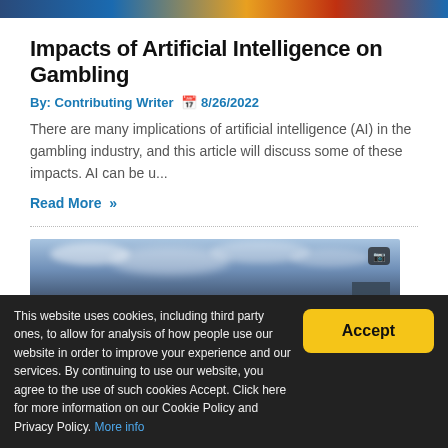[Figure (photo): Colorful banner/header image strip at the top of the page]
Impacts of Artificial Intelligence on Gambling
By: Contributing Writer  8/26/2022
There are many implications of artificial intelligence (AI) in the gambling industry, and this article will discuss some of these impacts. AI can be u...
Read More »
[Figure (photo): Augmented reality screenshot of a baseball stadium (Minnesota Twins) with colorful balls, emoji avatars, and military jets flying overhead in a cloudy sky, with city skyline visible]
This website uses cookies, including third party ones, to allow for analysis of how people use our website in order to improve your experience and our services. By continuing to use our website, you agree to the use of such cookies Accept. Click here for more information on our Cookie Policy and Privacy Policy. More info